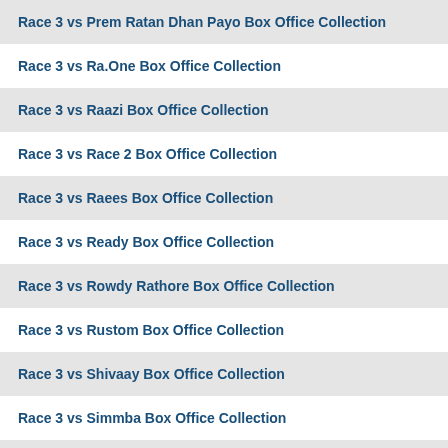Race 3 vs Prem Ratan Dhan Payo Box Office Collection
Race 3 vs Ra.One Box Office Collection
Race 3 vs Raazi Box Office Collection
Race 3 vs Race 2 Box Office Collection
Race 3 vs Raees Box Office Collection
Race 3 vs Ready Box Office Collection
Race 3 vs Rowdy Rathore Box Office Collection
Race 3 vs Rustom Box Office Collection
Race 3 vs Shivaay Box Office Collection
Race 3 vs Simmba Box Office Collection